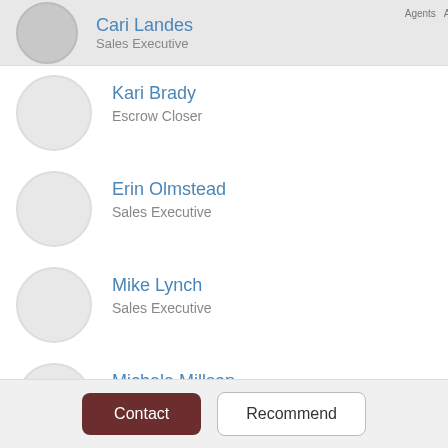Cari Landes – Sales Executive
Kari Brady – Escrow Closer
Erin Olmstead – Sales Executive
Mike Lynch – Sales Executive
Michele Millsap – Escrow Operations Manager, LPO,
Brandon Diaz – Sales Executive
Maria Merrick